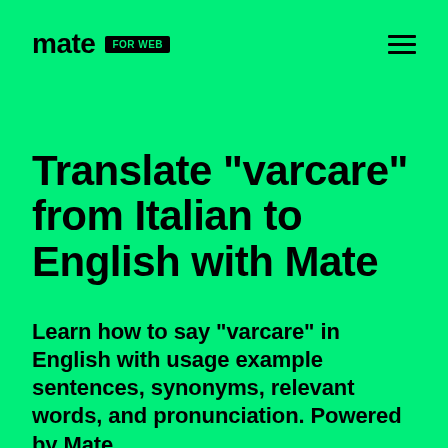mate FOR WEB
Translate "varcare" from Italian to English with Mate
Learn how to say "varcare" in English with usage example sentences, synonyms, relevant words, and pronunciation. Powered by Mate.